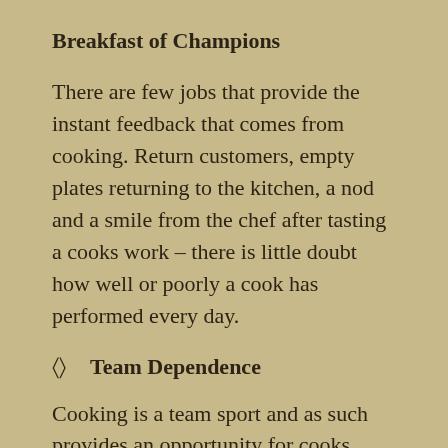Breakfast of Champions
There are few jobs that provide the instant feedback that comes from cooking. Return customers, empty plates returning to the kitchen, a nod and a smile from the chef after tasting a cooks work – there is little doubt how well or poorly a cook has performed every day.
[] Team Dependence
Cooking is a team sport and as such provides an opportunity for cooks